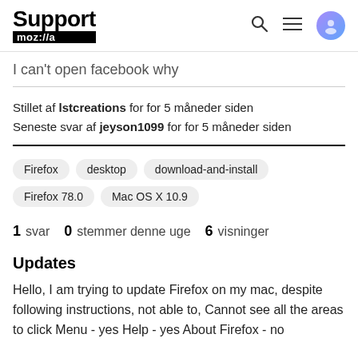Support mozilla // a
I can't open facebook why
Stillet af lstcreations for for 5 måneder siden
Seneste svar af jeyson1099 for for 5 måneder siden
Firefox
desktop
download-and-install
Firefox 78.0
Mac OS X 10.9
1 svar   0 stemmer denne uge   6 visninger
Updates
Hello, I am trying to update Firefox on my mac, despite following instructions, not able to, Cannot see all the areas to click Menu - yes Help - yes About Firefox - no